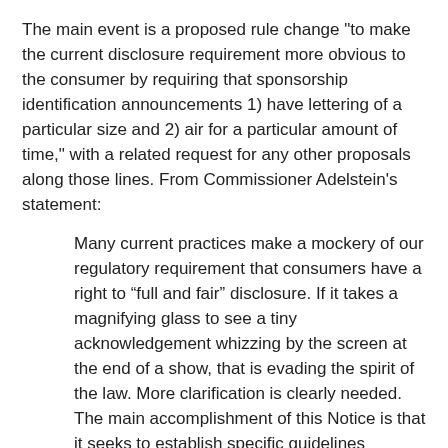The main event is a proposed rule change "to make the current disclosure requirement more obvious to the consumer by requiring that sponsorship identification announcements 1) have lettering of a particular size and 2) air for a particular amount of time," with a related request for any other proposals along those lines. From Commissioner Adelstein's statement:
Many current practices make a mockery of our regulatory requirement that consumers have a right to “full and fair” disclosure. If it takes a magnifying glass to see a tiny acknowledgement whizzing by the screen at the end of a show, that is evading the spirit of the law. More clarification is clearly needed. The main accomplishment of this Notice is that it seeks to establish specific guidelines addressing the nature of the disclosure, including font size of the sponsorship credits and the amount of time they are aired.
The Commission also seeks comment on whether any change in children's programming-specific rules or cable-